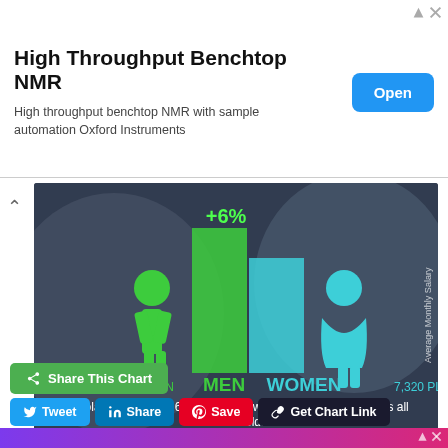[Figure (infographic): Ad banner: High Throughput Benchtop NMR with Open button]
[Figure (infographic): Salary comparison infographic: Men earn 7,760 PLN vs Women 7,320 PLN in Poland, +6% difference. salaryexplorer.com]
Share This Chart
Tweet
Share
Save
Get Chart Link